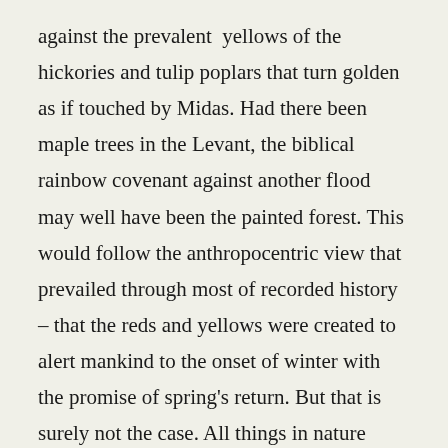against the prevalent yellows of the hickories and tulip poplars that turn golden as if touched by Midas. Had there been maple trees in the Levant, the biblical rainbow covenant against another flood may well have been the painted forest. This would follow the anthropocentric view that prevailed through most of recorded history – that the reds and yellows were created to alert mankind to the onset of winter with the promise of spring's return. But that is surely not the case. All things in nature have a reason. So why do leaves change their colors in the fall? And, specifically, why red? The fundamental mechanisms attributed in lore to the palette of Jack Frost are established botanical principles. Leaves change color in the fall because the plant senses the colder temperatures and shuts down the